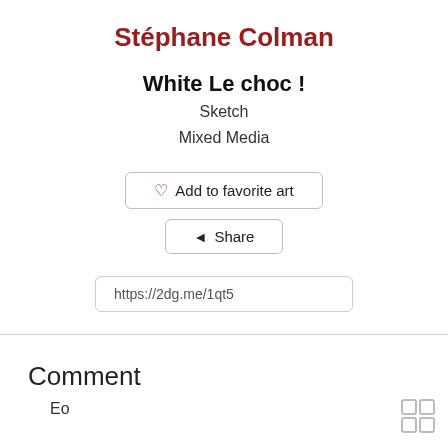Stéphane Colman
White Le choc !
Sketch
Mixed Media
[Figure (other): Add to favorite art button with heart icon]
[Figure (other): Share button with share icon]
https://2dg.me/1qt5
Comment
Eo
[Figure (other): Small icon at bottom right corner]